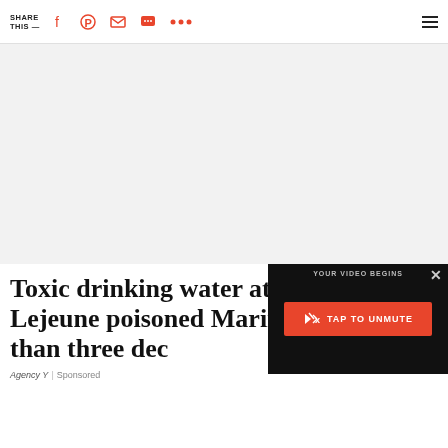SHARE THIS — [social share icons: Facebook, Pinterest, Email, SMS, More, Menu]
[Figure (other): Gray placeholder rectangle for advertisement or image]
Toxic drinking water at Camp Lejeune poisoned Marines for more than three dec[ades]
Agency Y | Sponsored
[Figure (screenshot): Video overlay with black background showing 'YOUR VIDEO BEGINS' text, a red TAP TO UNMUTE button with speaker icon, and an X close button]